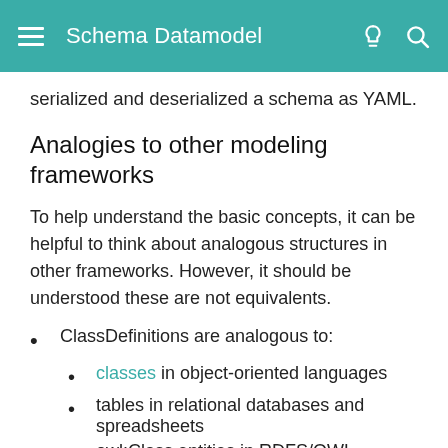Schema Datamodel
serialized and deserialized a schema as YAML.
Analogies to other modeling frameworks
To help understand the basic concepts, it can be helpful to think about analogous structures in other frameworks. However, it should be understood these are not equivalents.
ClassDefinitions are analogous to:
classes in object-oriented languages
tables in relational databases and spreadsheets
owl:Class entities in RDFS/OWL
SlotDefinitions are analogous to:
attributes in object-oriented languages